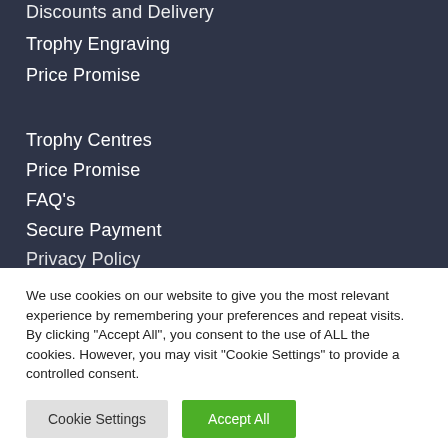Discounts and Delivery
Trophy Engraving
Price Promise
Trophy Centres
Price Promise
FAQ's
Secure Payment
Privacy Policy
We use cookies on our website to give you the most relevant experience by remembering your preferences and repeat visits. By clicking "Accept All", you consent to the use of ALL the cookies. However, you may visit "Cookie Settings" to provide a controlled consent.
Cookie Settings | Accept All